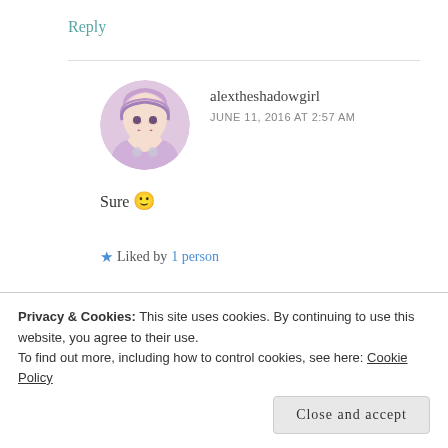Reply
[Figure (illustration): Circular avatar illustration of a girl with purple/pink hair and stylized makeup]
alextheshadowgirl
JUNE 11, 2016 AT 2:57 AM
Sure 🙂
★ Liked by 1 person
[Figure (screenshot): Partial view of a blog post image with blue-purple gradient background and a tan/beige box element]
Privacy & Cookies: This site uses cookies. By continuing to use this website, you agree to their use.
To find out more, including how to control cookies, see here: Cookie Policy
Close and accept